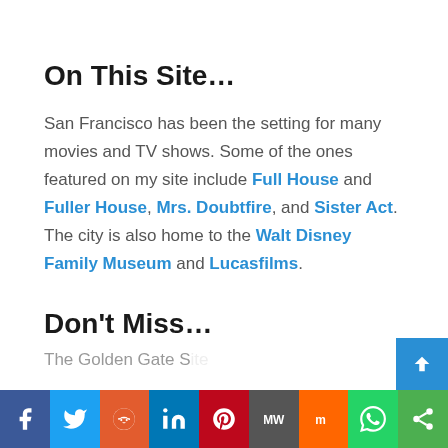On This Site…
San Francisco has been the setting for many movies and TV shows. Some of the ones featured on my site include Full House and Fuller House, Mrs. Doubtfire, and Sister Act. The city is also home to the Walt Disney Family Museum and Lucasfilms.
Don't Miss…
The Golden Gate Bridge
[Figure (other): Social media sharing bar with icons: Facebook, Twitter, Reddit, LinkedIn, Pinterest, MeWe, Mix, WhatsApp, Share]